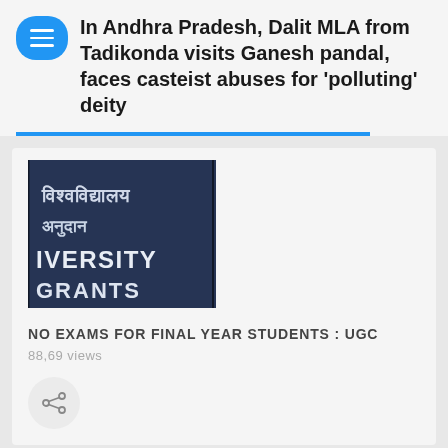In Andhra Pradesh, Dalit MLA from Tadikonda visits Ganesh pandal, faces casteist abuses for ‘polluting’ deity
[Figure (photo): Photo of a University Grants Commission (UGC) signboard with Hindi and English text on a dark metal surface]
NO EXAMS FOR FINAL YEAR STUDENTS : UGC
88,69 views